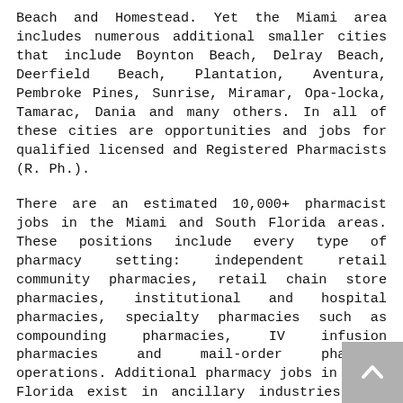Beach and Homestead. Yet the Miami area includes numerous additional smaller cities that include Boynton Beach, Delray Beach, Deerfield Beach, Plantation, Aventura, Pembroke Pines, Sunrise, Miramar, Opa-locka, Tamarac, Dania and many others. In all of these cities are opportunities and jobs for qualified licensed and Registered Pharmacists (R. Ph.).
There are an estimated 10,000+ pharmacist jobs in the Miami and South Florida areas. These positions include every type of pharmacy setting: independent retail community pharmacies, retail chain store pharmacies, institutional and hospital pharmacies, specialty pharmacies such as compounding pharmacies, IV infusion pharmacies and mail-order pharmacy operations. Additional pharmacy jobs in South Florida exist in ancillary industries with positions working for medical software development firms, pharmaceutical manufacturers and insurance companies that located in the Miami area.